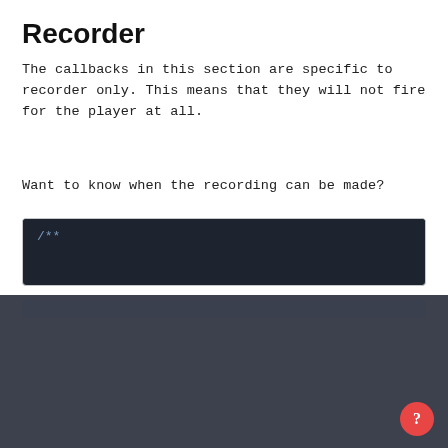Recorder
The callbacks in this section are specific to recorder only. This means that they will not fire for the player at all.
Want to know when the recording can be made?
[Figure (screenshot): Dark code editor block showing start of a JSDoc comment: /**]
[Figure (screenshot): Cookie consent overlay dialog with AGREE AND PROCEED and LEAVE buttons, cookie policy text with link, and checkbox for statistics cookies]
Cookies are important to the proper functioning of a site. To improve your experience, we use cookies to remember log-in details and provide secure log-in. Click Agree and Proceed to accept cookies. Review our Cookie Policy here.
Additionally use cookies to collect statistics to optimize site functionality and deliver content tailored to your interests.